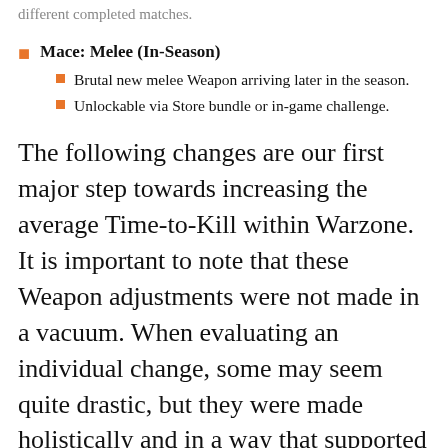different completed matches.
Mace: Melee (In-Season)
Brutal new melee Weapon arriving later in the season.
Unlockable via Store bundle or in-game challenge.
The following changes are our first major step towards increasing the average Time-to-Kill within Warzone. It is important to note that these Weapon adjustments were not made in a vacuum. When evaluating an individual change, some may seem quite drastic, but they were made holistically and in a way that supported a lock-step increase in average TTK across multiple Weapon categories. Torso Multipliers were a